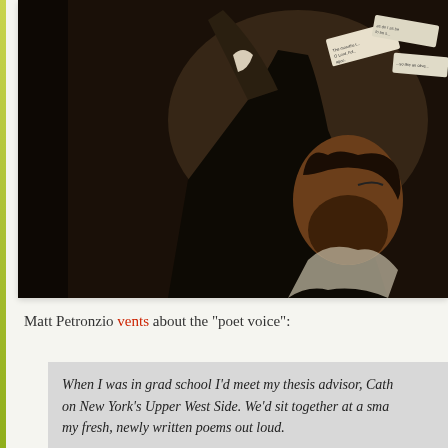[Figure (photo): A dramatic painting or photograph of a bearded man in dark clothing, arm raised upward, holding or reading torn paper scraps near his face against a dark background. Small text fragments visible on the paper scraps.]
Matt Petronzio vents about the "poet voice":
When I was in grad school I'd meet my thesis advisor, Cath on New York's Upper West Side. We'd sit together at a sma my fresh, newly written poems out loud.